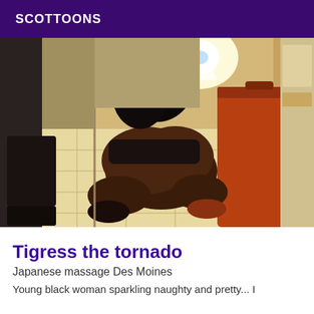SCOTTOONS
[Figure (photo): A woman posing in a room, viewed from behind, kneeling on a tiled floor near a mirror, wearing dark underwear and heels, with luggage visible in the background and a bright flash reflection in the mirror.]
Tigress the tornado
Japanese massage Des Moines
Young black woman sparkling naughty and pretty... I